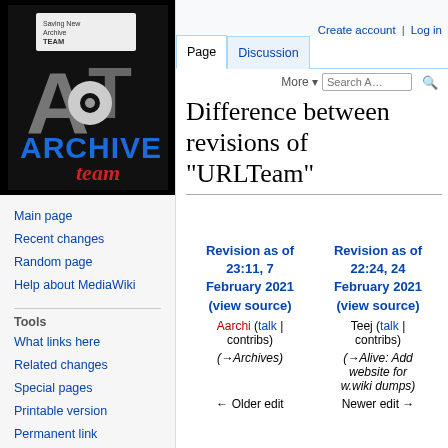[Figure (logo): Archive Team logo — floppy disk with 'AT' letters and 'ARCHIVE team' text on black background]
Main page
Recent changes
Random page
Help about MediaWiki
Tools
What links here
Related changes
Special pages
Printable version
Permanent link
Page information
Create account  Log in
Difference between revisions of "URLTeam"
| Revision as of 23:11, 7 February 2021 (view source) | Revision as of 22:24, 24 February 2021 (view source) |
| --- | --- |
| Aarchi (talk | contribs) | Teej (talk | contribs) |
| (→Archives) | (→Alive: Add website for w.wiki dumps) |
| ← Older edit | Newer edit → |